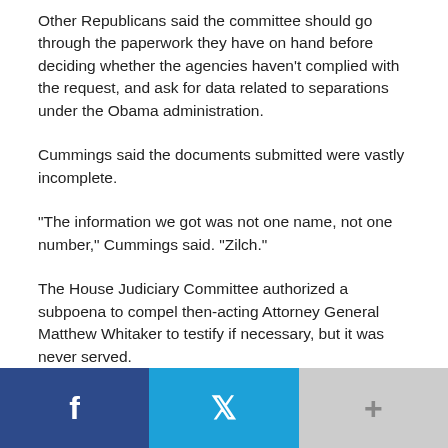Other Republicans said the committee should go through the paperwork they have on hand before deciding whether the agencies haven't complied with the request, and ask for data related to separations under the Obama administration.
Cummings said the documents submitted were vastly incomplete.
“The information we got was not one name, not one number,” Cummings said. “Zilch.”
The House Judiciary Committee authorized a subpoena to compel then-acting Attorney General Matthew Whitaker to testify if necessary, but it was never served.
If officials don’t comply, the committee and eventually the full House could vote to hold the department in contempt, setting up a potentially lengthy court battle.
[Figure (other): Social share bar with Facebook (blue), Twitter (cyan), and more (+) buttons]